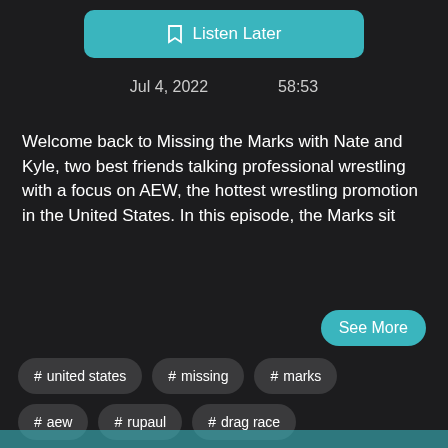[Figure (screenshot): Listen Later button with bookmark icon on teal background]
Jul 4, 2022     58:53
Welcome back to Missing the Marks with Nate and Kyle, two best friends talking professional wrestling with a focus on AEW, the hottest wrestling promotion in the United States. In this episode, the Marks sit
[Figure (other): See More teal button]
# united states
# missing
# marks
# aew
# rupaul
# drag race
# aew dark
# breaux